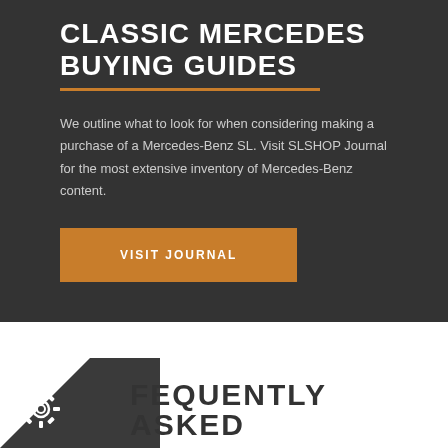CLASSIC MERCEDES BUYING GUIDES
We outline what to look for when considering making a purchase of a Mercedes-Benz SL. Visit SLSHOP Journal for the most extensive inventory of Mercedes-Benz content.
VISIT JOURNAL
FREQUENTLY ASKED